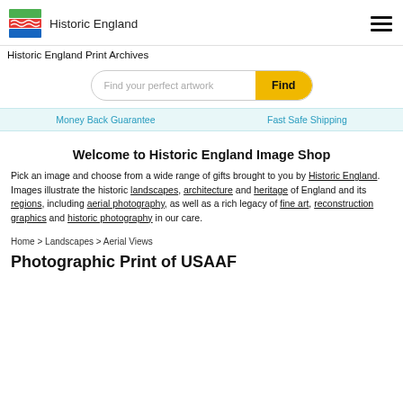[Figure (logo): Historic England logo with colored flag stripes (green, red/wave, blue) and text 'Historic England']
Historic England Print Archives
Find your perfect artwork  Find
Money Back Guarantee   Fast Safe Shipping
Welcome to Historic England Image Shop
Pick an image and choose from a wide range of gifts brought to you by Historic England. Images illustrate the historic landscapes, architecture and heritage of England and its regions, including aerial photography, as well as a rich legacy of fine art, reconstruction graphics and historic photography in our care.
Home > Landscapes > Aerial Views
Photographic Print of USAAF